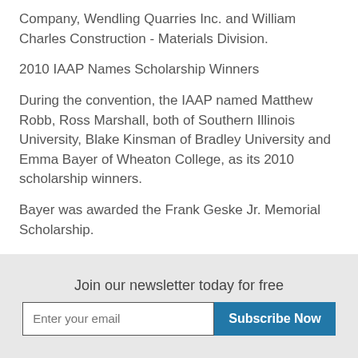Company, Wendling Quarries Inc. and William Charles Construction - Materials Division.
2010 IAAP Names Scholarship Winners
During the convention, the IAAP named Matthew Robb, Ross Marshall, both of Southern Illinois University, Blake Kinsman of Bradley University and Emma Bayer of Wheaton College, as its 2010 scholarship winners.
Bayer was awarded the Frank Geske Jr. Memorial Scholarship.
...
Join our newsletter today for free